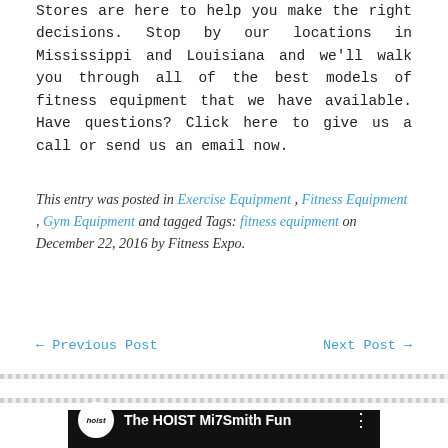Stores are here to help you make the right decisions. Stop by our locations in Mississippi and Louisiana and we'll walk you through all of the best models of fitness equipment that we have available. Have questions? Click here to give us a call or send us an email now.
This entry was posted in Exercise Equipment , Fitness Equipment , Gym Equipment and tagged Tags: fitness equipment on December 22, 2016 by Fitness Expo.
← Previous Post    Next Post →
[Figure (screenshot): Video thumbnail showing HOIST logo and partial title text 'The HOIST Mi7Smith Fun' on a black background with a menu dots icon]